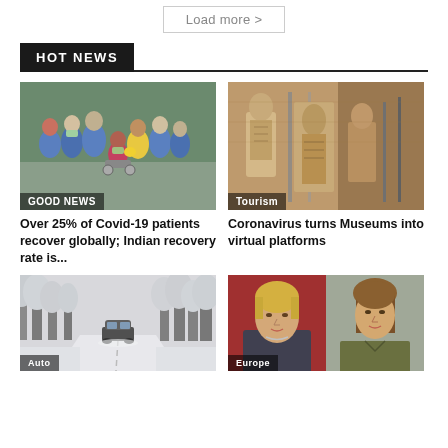Load more >
HOT NEWS
[Figure (photo): Medical workers in blue protective gear with patients wearing masks outdoors. Tag: GOOD NEWS]
Over 25% of Covid-19 patients recover globally; Indian recovery rate is...
[Figure (photo): Ancient stone sculptures/artifacts displayed in a museum. Tag: Tourism]
Coronavirus turns Museums into virtual platforms
[Figure (photo): A car driving on a snowy road surrounded by snow-covered trees. Tag: Auto]
[Figure (photo): Two women photographed side by side. Tag: Europe]